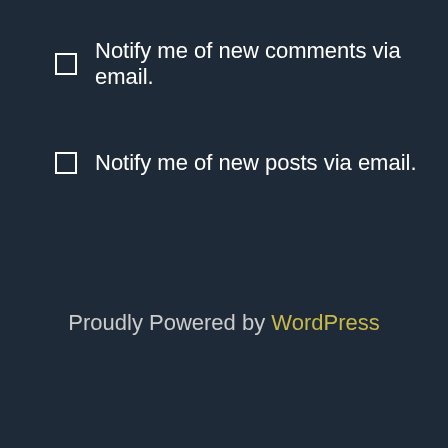Notify me of new comments via email.
Notify me of new posts via email.
Proudly Powered by WordPress